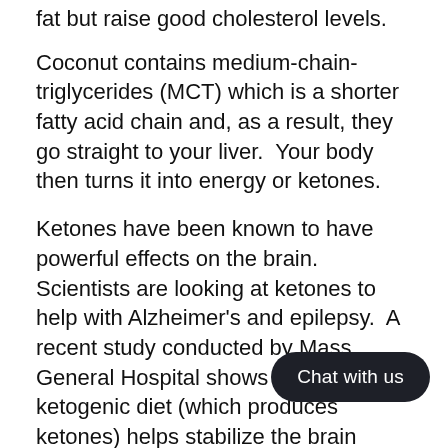fat but raise good cholesterol levels.
Coconut contains medium-chain-triglycerides (MCT) which is a shorter fatty acid chain and, as a result, they go straight to your liver.  Your body then turns it into energy or ketones.
Ketones have been known to have powerful effects on the brain.  Scientists are looking at ketones to help with Alzheimer's and epilepsy.  A recent study conducted by Mass General Hospital shows that eating a ketogenic diet (which produces ketones) helps stabilize the brain network.
The brain is comprised primarily of fat.  If you feed it healthy fats, it thrives.
An older study that looked at Polynesian cultures